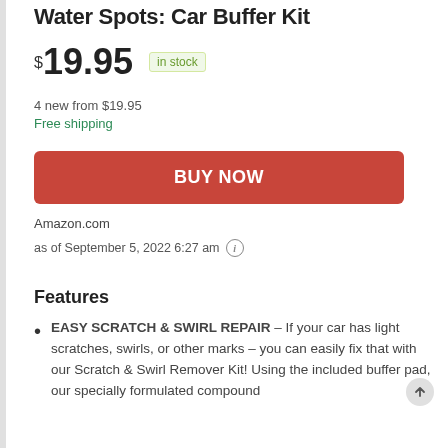Water Spots: Car Buffer Kit
$19.95  in stock
4 new from $19.95
Free shipping
BUY NOW
Amazon.com
as of September 5, 2022 6:27 am ⓘ
Features
EASY SCRATCH & SWIRL REPAIR – If your car has light scratches, swirls, or other marks – you can easily fix that with our Scratch & Swirl Remover Kit! Using the included buffer pad, our specially formulated compound